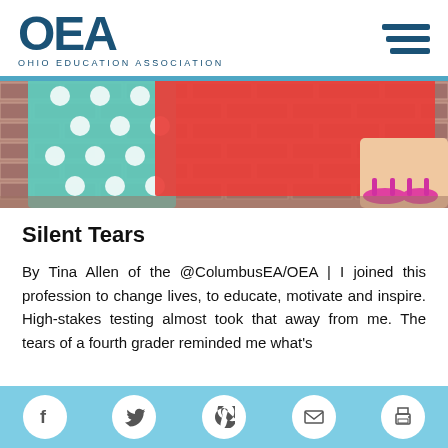OEA — OHIO EDUCATION ASSOCIATION
[Figure (photo): Close-up photo of children's feet and legs near a brick wall, wearing sandals, with colorful polka-dot and red fabric visible]
Silent Tears
By Tina Allen of the @ColumbusEA/OEA | I joined this profession to change lives, to educate, motivate and inspire. High-stakes testing almost took that away from me. The tears of a fourth grader reminded me what's
Social share icons: Facebook, Twitter, Pinterest, Email, Print